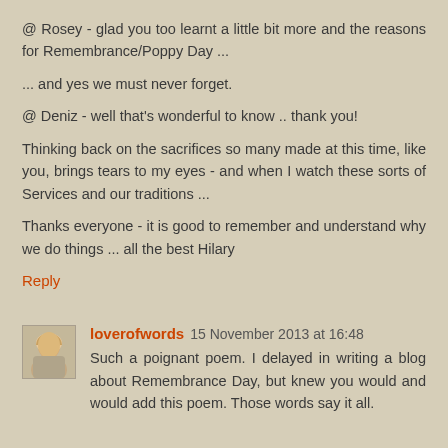@ Rosey - glad you too learnt a little bit more and the reasons for Remembrance/Poppy Day ...
... and yes we must never forget.
@ Deniz - well that's wonderful to know .. thank you!
Thinking back on the sacrifices so many made at this time, like you, brings tears to my eyes - and when I watch these sorts of Services and our traditions ...
Thanks everyone - it is good to remember and understand why we do things ... all the best Hilary
Reply
loverofwords 15 November 2013 at 16:48
Such a poignant poem. I delayed in writing a blog about Remembrance Day, but knew you would and would add this poem. Those words say it all.